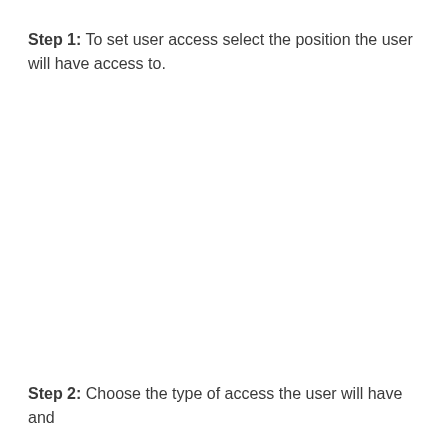Step 1: To set user access select the position the user will have access to.
Step 2: Choose the type of access the user will have and